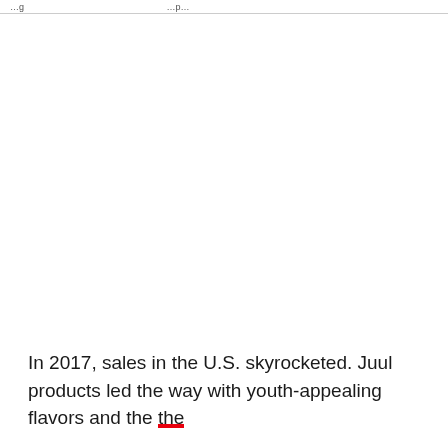…ing …p… …p…
In 2017, sales in the U.S. skyrocketed. Juul products led the way with youth-appealing flavors and the